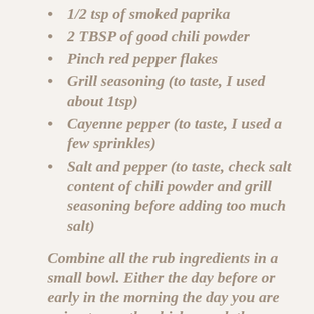1/2 tsp of smoked paprika
2 TBSP of good chili powder
Pinch red pepper flakes
Grill seasoning (to taste, I used about 1tsp)
Cayenne pepper (to taste, I used a few sprinkles)
Salt and pepper (to taste, check salt content of chili powder and grill seasoning before adding too much salt)
Combine all the rub ingredients in a small bowl.  Either the day before or early in the morning the day you are going to use the chicken, rub the